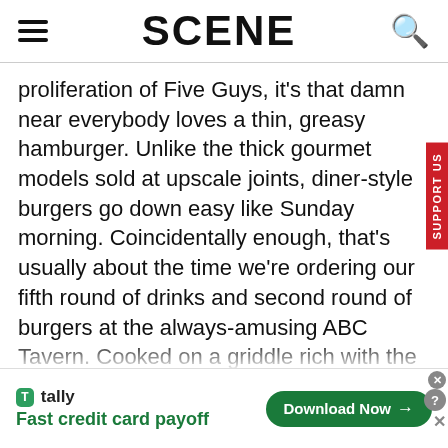SCENE
proliferation of Five Guys, it's that damn near everybody loves a thin, greasy hamburger. Unlike the thick gourmet models sold at upscale joints, diner-style burgers go down easy like Sunday morning. Coincidentally enough, that's usually about the time we're ordering our fifth round of drinks and second round of burgers at the always-amusing ABC Tavern. Cooked on a griddle rich with the drippings of 10,000 patties, these addictively delicious gems are topped with cheese, lettuce, tomato, and fried onions before being gift-wrapped in wax paper. Eminently
[Figure (screenshot): Tally advertisement banner: 'Fast credit card payoff' with Download Now button]